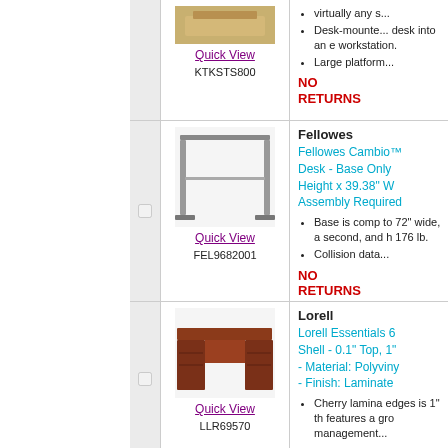[Figure (photo): Product image of KTKSTS800 desk converter/riser, cropped at top]
Quick View
KTKSTS800
Desk-mounted desk into an e workstation.
Large platform...
NO RETURNS
Fellowes
Fellowes Cambio™ Desk - Base Only Height x 39.38" W Assembly Required
[Figure (photo): Product image of Fellowes Cambio desk base frame, silver/grey metal frame, no desk surface]
Quick View
FEL9682001
Base is comp to 72" wide, a second, and h 176 lb.
Collision data...
NO RETURNS
Lorell
Lorell Essentials 6 Shell - 0.1" Top, 1" - Material: Polyvin - Finish: Laminate
[Figure (photo): Product image of Lorell Essentials executive desk shell in cherry/mahogany laminate finish]
Quick View
LLR69570
Cherry laminated edges is 1" th features a gro management...